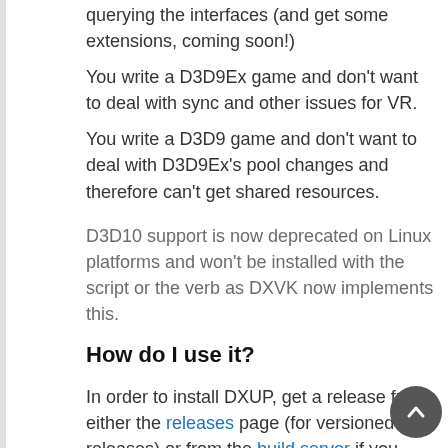want to get access to some D3D11 features by querying the interfaces (and get some extensions, coming soon!)
You write a D3D9Ex game and don't want to deal with sync and other issues for VR.
You write a D3D9 game and don't want to deal with D3D9Ex's pool changes and therefore can't get shared resources.
D3D10 support is now deprecated on Linux platforms and won't be installed with the script or the verb as DXVK now implements this.
How do I use it?
In order to install DXUP, get a release from either the releases page (for versioned releases) or from the build server if you want one built against the latest or a specific commit then run